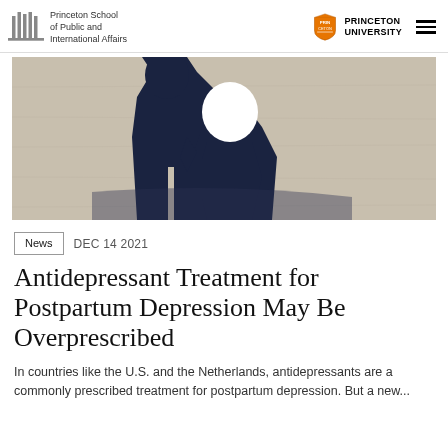Princeton School of Public and International Affairs | Princeton University
[Figure (photo): Artistic photo showing silhouettes of an adult and child figure cut out against a concrete wall background, dark navy/black shapes]
News   DEC 14 2021
Antidepressant Treatment for Postpartum Depression May Be Overprescribed
In countries like the U.S. and the Netherlands, antidepressants are a commonly prescribed treatment for postpartum depression. But a new...